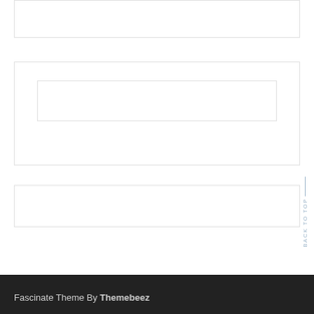« Jul
[Figure (screenshot): Empty white content box with light border]
[Figure (screenshot): Empty white content box with inner bordered rectangle, representing a UI widget or input area]
[Figure (screenshot): Empty white content box with light border, lower section]
BACK TO TOP
Fascinate Theme By Themebeez